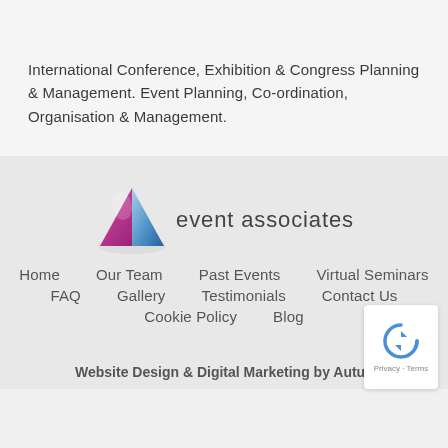International Conference, Exhibition & Congress Planning & Management. Event Planning, Co-ordination, Organisation & Management.
[Figure (logo): Event Associates logo — stylized triangular shape in pink/magenta and blue/white gradient, with text 'event associates' in grey sans-serif]
Home   Our Team   Past Events   Virtual Seminars
FAQ   Gallery   Testimonials   Contact Us
Cookie Policy   Blog
Website Design & Digital Marketing by Autus